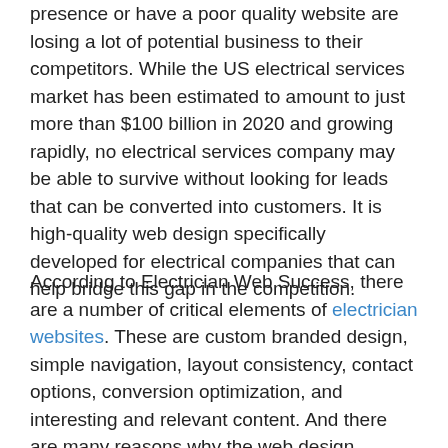presence or have a poor quality website are losing a lot of potential business to their competitors. While the US electrical services market has been estimated to amount to just more than $100 billion in 2020 and growing rapidly, no electrical services company may be able to survive without looking for leads that can be converted into customers. It is high-quality web design specifically developed for electrical companies that can help bridge this gap in the competition.
According to Electrician Web Success, there are a number of critical elements of electrician websites. These are custom branded design, simple navigation, layout consistency, contact options, conversion optimization, and interesting and relevant content. And there are many reasons why the web design services they provide will stand out among the crowd. These include no ownership clauses; no hidden fees; exclusivity and loyalty; mobile-friendly and responsive website design; other